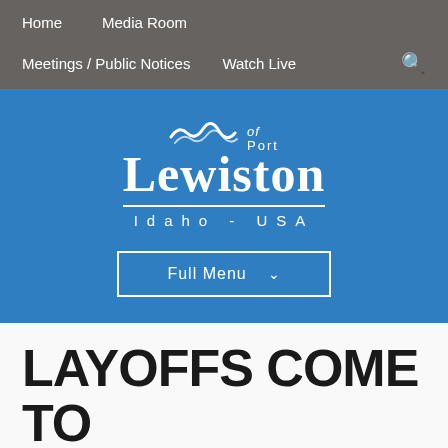Home   Media Room   Meetings / Public Notices   Watch Live
[Figure (logo): Port of Lewiston Idaho - USA logo with wave graphic, white text on blue background, with Full Menu dropdown button]
LAYOFFS COME TO CALL AT